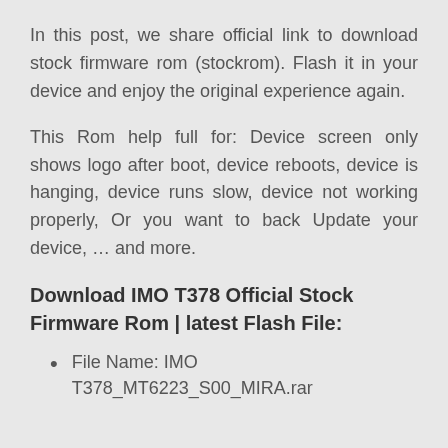In this post, we share official link to download stock firmware rom (stockrom). Flash it in your device and enjoy the original experience again.
This Rom help full for: Device screen only shows logo after boot, device reboots, device is hanging, device runs slow, device not working properly, Or you want to back Update your device, … and more.
Download IMO T378 Official Stock Firmware Rom | latest Flash File:
File Name: IMO T378_MT6223_S00_MIRA.rar